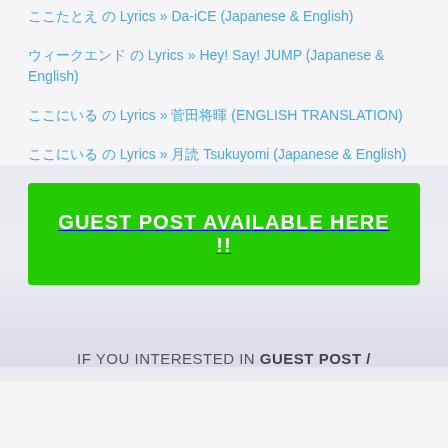ここたとえ Lyrics » Da-iCE (Japanese & English)
ウィークエンド Lyrics » Hey! Say! JUMP (Japanese & English)
ここにいる Lyrics » 菅田将暉 (ENGLISH TRANSLATION)
ここにいる Lyrics » 菅田将暉 Tsukuyomi (Japanese & English)
[Figure (other): Green banner button with text GUEST POST AVAILABLE HERE !!]
IF YOU INTERESTED IN GUEST POST /